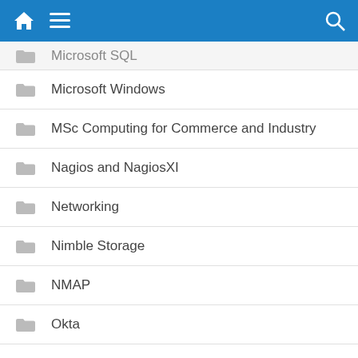Navigation bar with home, menu, and search icons
Microsoft SQL
Microsoft Windows
MSc Computing for Commerce and Industry
Nagios and NagiosXI
Networking
Nimble Storage
NMAP
Okta
Oracle
Palo Alto Firewall
Random
Raspberry Pi